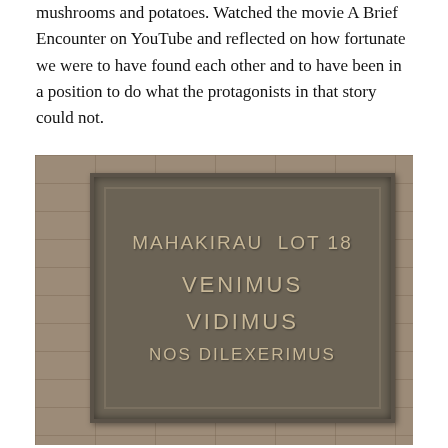mushrooms and potatoes. Watched the movie A Brief Encounter on YouTube and reflected on how fortunate we were to have found each other and to have been in a position to do what the protagonists in that story could not.
[Figure (photo): A bronze or metal plaque mounted on a stone wall reading: MAHAKIRAU LOT 18 / VENIMUS / VIDIMUS / NOS DILEXERIMUS]